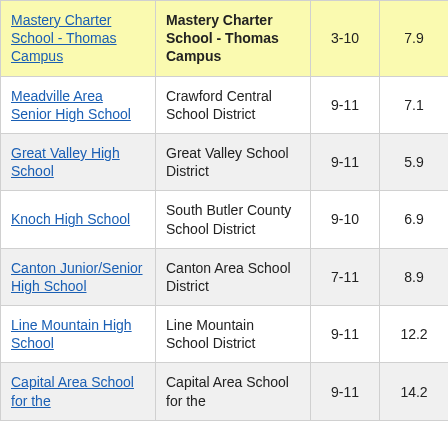| School | District | Grades | Score |  |
| --- | --- | --- | --- | --- |
| Mastery Charter School - Thomas Campus | Mastery Charter School - Thomas Campus | 3-10 | 7.9 | 5 |
| Meadville Area Senior High School | Crawford Central School District | 9-11 | 7.1 |  |
| Great Valley High School | Great Valley School District | 9-11 | 5.9 |  |
| Knoch High School | South Butler County School District | 9-10 | 6.9 |  |
| Canton Junior/Senior High School | Canton Area School District | 7-11 | 8.9 |  |
| Line Mountain High School | Line Mountain School District | 9-11 | 12.2 |  |
| Capital Area School for the | Capital Area School for the | 9-11 | 14.2 |  |